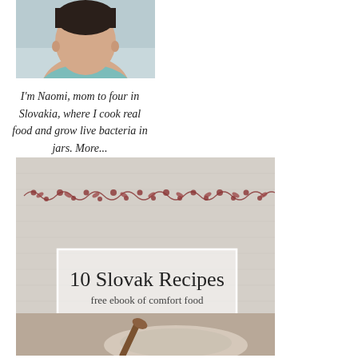[Figure (photo): Cropped portrait photo of a woman with short dark hair, wearing a light blue top, photographed outdoors.]
I'm Naomi, mom to four in Slovakia, where I cook real food and grow live bacteria in jars. More...
[Figure (photo): Book cover for '10 Slovak Recipes - free ebook of comfort food'. Gray/white linen background with a decorative red embroidered floral border near the top. A white rectangle frames the title text. In the lower portion, a wooden spoon rests in a dish of food.]